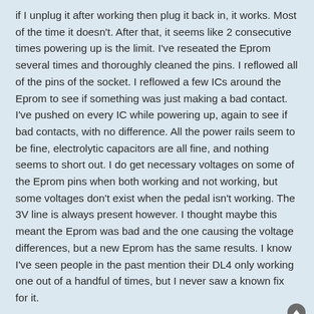if I unplug it after working then plug it back in, it works. Most of the time it doesn't. After that, it seems like 2 consecutive times powering up is the limit. I've reseated the Eprom several times and thoroughly cleaned the pins. I reflowed all of the pins of the socket. I reflowed a few ICs around the Eprom to see if something was just making a bad contact. I've pushed on every IC while powering up, again to see if bad contacts, with no difference. All the power rails seem to be fine, electrolytic capacitors are all fine, and nothing seems to short out. I do get necessary voltages on some of the Eprom pins when both working and not working, but some voltages don't exist when the pedal isn't working. The 3V line is always present however. I thought maybe this meant the Eprom was bad and the one causing the voltage differences, but a new Eprom has the same results. I know I've seen people in the past mention their DL4 only working one out of a handful of times, but I never saw a known fix for it.
1 post • Page 1 of 1